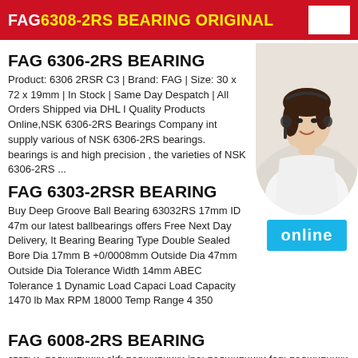FAG 6308-2RS BEARING ORIGINAL
FAG 6306-2RS BEARING
Product: 6306 2RSR C3 | Brand: FAG | Size: 30 x 72 x 19mm | In Stock | Same Day Despatch | All Orders Shipped via DHL I Quality Products Online,NSK 6306-2RS Bearings Company int supply various of NSK 6306-2RS bearings. bearings is and high precision , the varieties of NSK 6306-2RS ...
[Figure (photo): Woman with headset, customer service representative, smiling, white blouse]
FAG 6303-2RSR BEARING
Buy Deep Groove Ball Bearing 63032RS 17mm ID 47m our latest ballbearings offers Free Next Day Delivery, It Bearing Bearing Type Double Sealed Bore Dia 17mm B +0/0008mm Outside Dia 47mm Outside Dia Tolerance Width 14mm ABEC Tolerance 1 Dynamic Load Capaci Load Capacity 1470 lb Max RPM 18000 Temp Range 4 350
[Figure (other): Blue 'online' button]
FAG 6008-2RS BEARING
статьи. подшипники skf; подшипники ina; подшипники fag; подшипники ntn; подшипники snr; подшипники nsk,Right now,FAG 6008-2RS bearing have a wide range of applications,our company always provide best quality, competitive price of FAG 6008-2RS